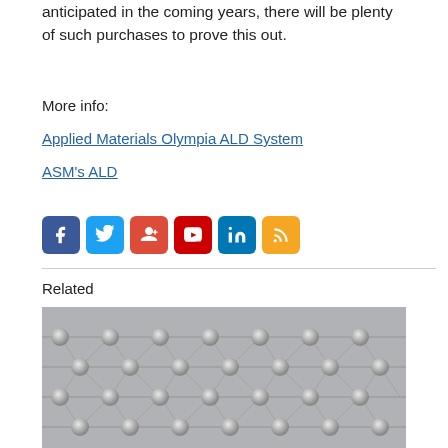anticipated in the coming years, there will be plenty of such purchases to prove this out.
More info:
Applied Materials Olympia ALD System
ASM's ALD
[Figure (infographic): Social media share icons: Facebook, Twitter, Google+, YouTube, LinkedIn, RSS]
Related
[Figure (illustration): 3D rendering of a graphene or atomic lattice structure showing rows of silver/gray spheres connected in a grid pattern]